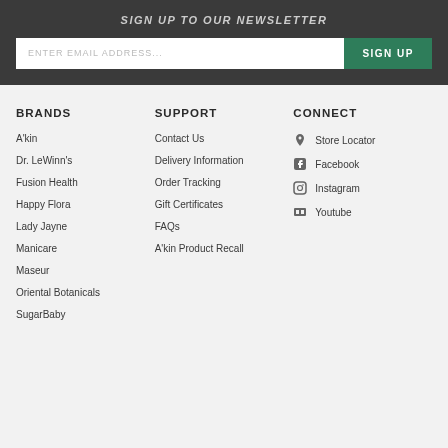SIGN UP TO OUR NEWSLETTER
ENTER EMAIL ADDRESS...
SIGN UP
BRANDS
A'kin
Dr. LeWinn's
Fusion Health
Happy Flora
Lady Jayne
Manicare
Maseur
Oriental Botanicals
SugarBaby
SUPPORT
Contact Us
Delivery Information
Order Tracking
Gift Certificates
FAQs
A'kin Product Recall
CONNECT
Store Locator
Facebook
Instagram
Youtube